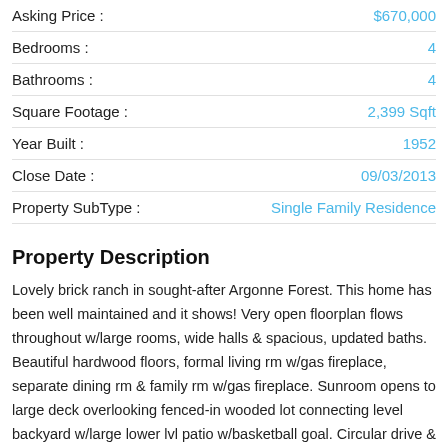| Field | Value |
| --- | --- |
| Asking Price : | $670,000 |
| Bedrooms : | 4 |
| Bathrooms : | 4 |
| Square Footage : | 2,399 Sqft |
| Year Built : | 1952 |
| Close Date : | 09/03/2013 |
| Property SubType : | Single Family Residence |
Property Description
Lovely brick ranch in sought-after Argonne Forest. This home has been well maintained and it shows! Very open floorplan flows throughout w/large rooms, wide halls & spacious, updated baths. Beautiful hardwood floors, formal living rm w/gas fireplace, separate dining rm & family rm w/gas fireplace. Sunroom opens to large deck overlooking fenced-in wooded lot connecting level backyard w/large lower lvl patio w/basketball goal. Circular drive & 2-car garage make this a perfect family home. Stepless entry, wide hall & roll-under sinks are welcoming to all. A true must see!